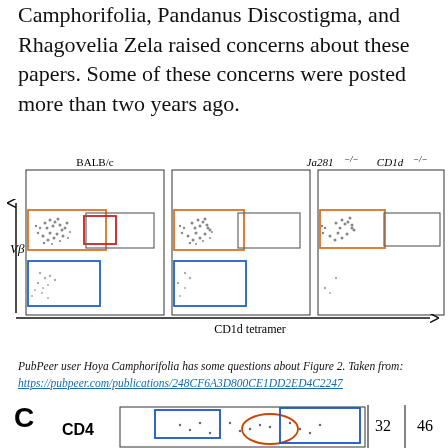Camphorifolia, Pandanus Discostigma, and Rhagovelia Zela raised concerns about these papers. Some of these concerns were posted more than two years ago.
[Figure (other): Flow cytometry dot plots showing three panels: BALB/c, Ja281−/−, and CD1d−/− with colored gating boxes (orange, red, blue) and CD1d tetramer x-axis, Vβ y-axis. The BALB/c panel has colored gates highlighted in orange and red/blue, while the other panels show grey/unfilled gates.]
PubPeer user Hoya Camphorifolia has some questions about Figure 2. Taken from: https://pubpeer.com/publications/248CF6A3D800CE1DD2ED4C2247
[Figure (other): Partial view of panel C from a figure showing CD4 label on left, flow cytometry scatter plot with blue and orange/red gates, and numbers 32 and 46 on the right side.]